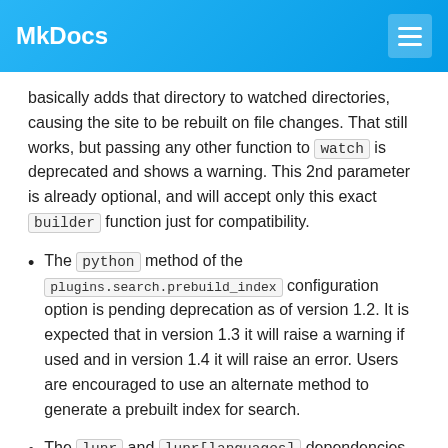MkDocs
basically adds that directory to watched directories, causing the site to be rebuilt on file changes. That still works, but passing any other function to watch is deprecated and shows a warning. This 2nd parameter is already optional, and will accept only this exact builder function just for compatibility.
The python method of the plugins.search.prebuild_index configuration option is pending deprecation as of version 1.2. It is expected that in version 1.3 it will raise a warning if used and in version 1.4 it will raise an error. Users are encouraged to use an alternate method to generate a prebuilt index for search.
The lunr and lunr[languages] dependencies are no longer installed by default. The dependencies